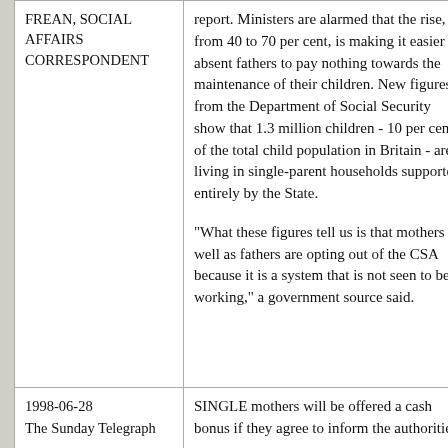| FREAN, SOCIAL AFFAIRS CORRESPONDENT | report. Ministers are alarmed that the rise, from 40 to 70 per cent, is making it easier for absent fathers to pay nothing towards the maintenance of their children. New figures from the Department of Social Security show that 1.3 million children - 10 per cent of the total child population in Britain - are living in single-parent households supported entirely by the State.

"What these figures tell us is that mothers as well as fathers are opting out of the CSA because it is a system that is not seen to be working," a government source said. |
| 1998-06-28
The Sunday Telegraph
[Mothers offered a cash bonus...] | SINGLE mothers will be offered a cash bonus if they agree to inform the authorities [of the identity of the absent parent...] |